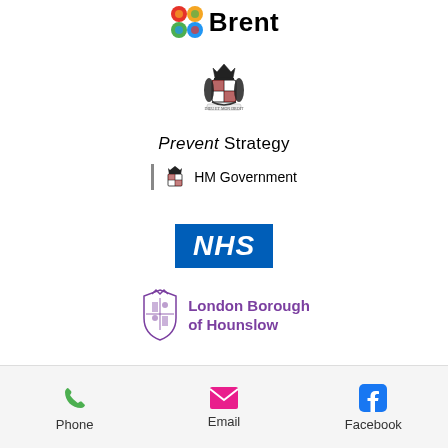[Figure (logo): Brent Council logo with coloured dots and 'Brent' text]
[Figure (logo): Royal Coat of Arms crest above 'Prevent Strategy' text and 'HM Government' with crest]
[Figure (logo): NHS logo - white italic text on blue background]
[Figure (logo): London Borough of Hounslow logo with purple crest and text]
Phone   Email   Facebook